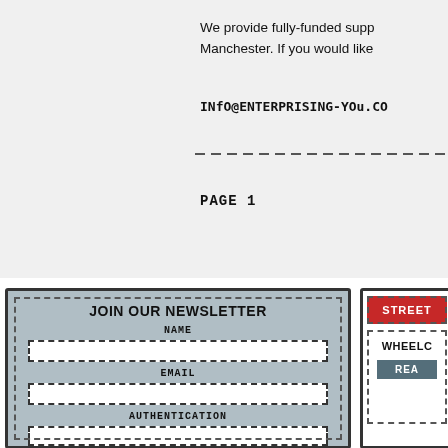We provide fully-funded supp... Manchester. If you would like...
INFO@ENTERPRISING-YOU.CO...
PAGE 1
[Figure (infographic): Newsletter signup form with fields for NAME, EMAIL, AUTHENTICATION on grey background with dashed border]
[Figure (infographic): Right card with red header reading STREET and body reading WHEELC with READ button]